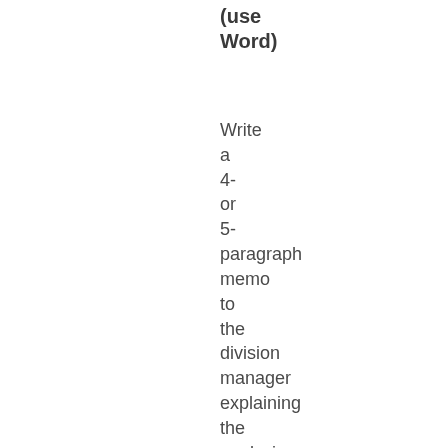(use Word)
Write a 4- or 5- paragraph memo to the division manager explaining the analysis performed. Start with an introduction